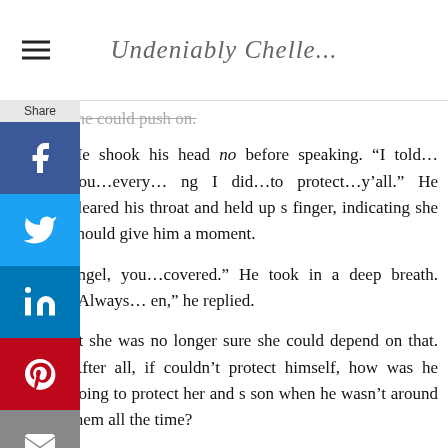Undeniably Chelle...
she could push on.
He shook his head no before speaking. “I told…you…every…ing I did…to protect…y’all.” He cleared his throat and held up s finger, indicating she should give him a moment.
angel, you…covered.” He took in a deep breath. “Always…en,” he replied.
ut she was no longer sure she could depend on that. After all, if couldn’t protect himself, how was he going to protect her and s son when he wasn’t around them all the time?
‘ve been thinking.” She paused and grabbed his hand in hers, rubbing his knuckles in circular motions.
“Maybe I should buy me some protection. I mean, after all, you always wanted me to when we were married. Now that we’re not